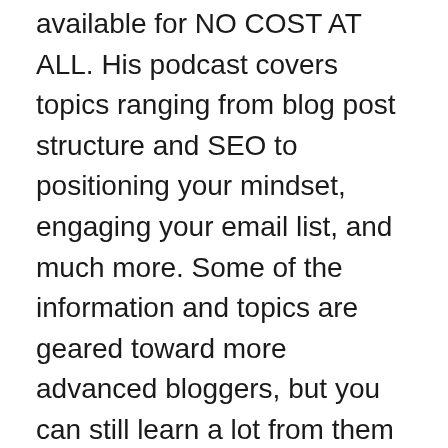available for NO COST AT ALL. His podcast covers topics ranging from blog post structure and SEO to positioning your mindset, engaging your email list, and much more. Some of the information and topics are geared toward more advanced bloggers, but you can still learn a lot from them if you are closer to the start of your game!
I discovered Brandon's podcast further into my blogging journey, but it has been an extremely helpful resource for me to continue learning and growing. Listening to his episodes helps to keep me focused on my blogging goals and up to date on